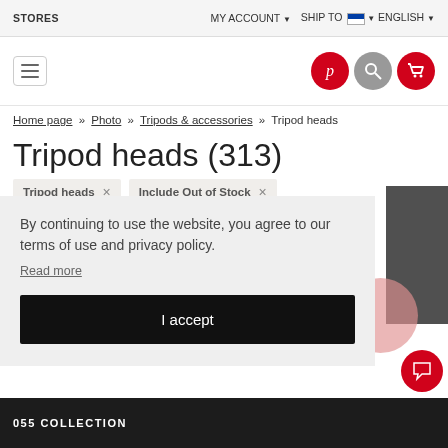STORES | MY ACCOUNT ▼ | SHIP TO 🏳 ENGLISH ▼
[Figure (screenshot): Navigation header bar with hamburger menu icon and three circular icons (red P icon, gray search icon, red cart icon)]
Home page » Photo » Tripods & accessories » Tripod heads
Tripod heads (313)
Tripod heads ×   Include Out of Stock ×
By continuing to use the website, you agree to our terms of use and privacy policy.
Read more
I accept
055 COLLECTION